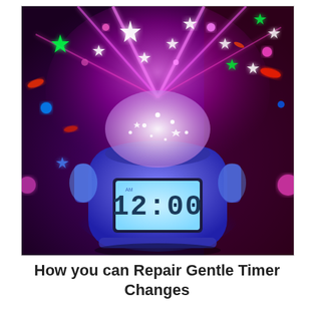[Figure (photo): A colorful digital alarm clock with a star projector dome on top, displaying 12:00 on its LCD screen, projecting colorful star and light patterns onto a dark purple background.]
How you can Repair Gentle Timer Changes